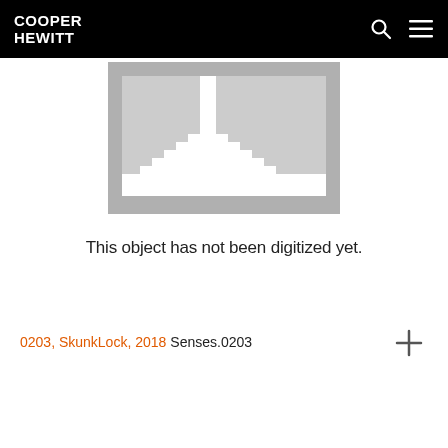COOPER HEWITT
[Figure (illustration): Pixelated gray placeholder image representing an undigitized museum object, showing a stylized low-resolution envelope or frame icon in gray tones.]
This object has not been digitized yet.
0203, SkunkLock, 2018 Senses.0203